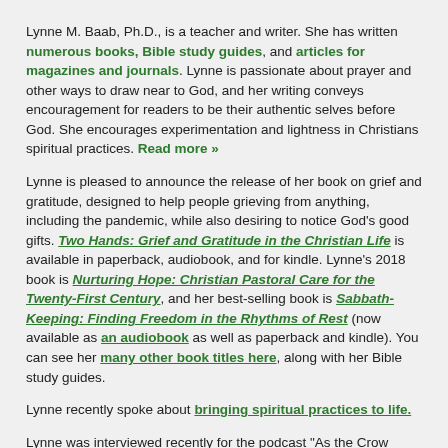Lynne M. Baab, Ph.D., is a teacher and writer. She has written numerous books, Bible study guides, and articles for magazines and journals. Lynne is passionate about prayer and other ways to draw near to God, and her writing conveys encouragement for readers to be their authentic selves before God. She encourages experimentation and lightness in Christians spiritual practices. Read more »
Lynne is pleased to announce the release of her book on grief and gratitude, designed to help people grieving from anything, including the pandemic, while also desiring to notice God's good gifts. Two Hands: Grief and Gratitude in the Christian Life is available in paperback, audiobook, and for kindle. Lynne's 2018 book is Nurturing Hope: Christian Pastoral Care for the Twenty-First Century, and her best-selling book is Sabbath-Keeping: Finding Freedom in the Rhythms of Rest (now available as an audiobook as well as paperback and kindle). You can see her many other book titles here, along with her Bible study guides.
Lynne recently spoke about bringing spiritual practices to life.
Lynne was interviewed recently for the podcast "As the Crow Flies". The first episode focuses on why listening matters and the second one on listening skills.